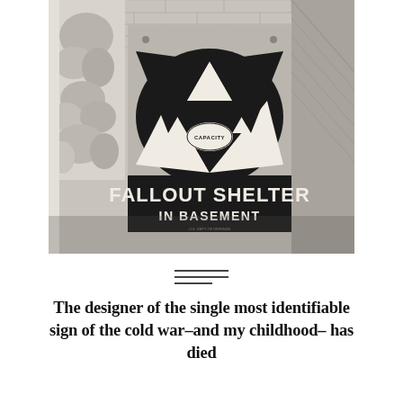[Figure (photo): Black and white photograph of a Fallout Shelter sign mounted on a brick wall. The sign shows the classic fallout shelter symbol (black oval with three black triangles and three white triangles arranged in a pinwheel, with a small oval labeled CAPACITY in the center). Below the symbol the sign reads 'FALLOUT SHELTER' in large bold letters and 'IN BASEMENT' in smaller text. Stone architectural carving is visible on the left side.]
The designer of the single most identifiable sign of the cold war–and my childhood– has died